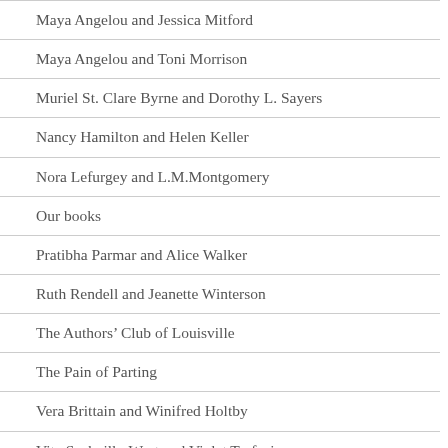Maya Angelou and Jessica Mitford
Maya Angelou and Toni Morrison
Muriel St. Clare Byrne and Dorothy L. Sayers
Nancy Hamilton and Helen Keller
Nora Lefurgey and L.M.Montgomery
Our books
Pratibha Parmar and Alice Walker
Ruth Rendell and Jeanette Winterson
The Authors’ Club of Louisville
The Pain of Parting
Vera Brittain and Winifred Holtby
Vita Sackville-West and Violet Trefusis
Zora Neale Hurston and Dorothy West